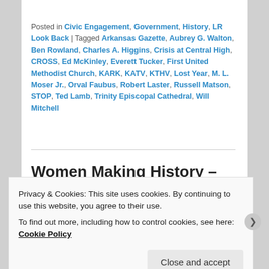Posted in Civic Engagement, Government, History, LR Look Back | Tagged Arkansas Gazette, Aubrey G. Walton, Ben Rowland, Charles A. Higgins, Crisis at Central High, CROSS, Ed McKinley, Everett Tucker, First United Methodist Church, KARK, KATV, KTHV, Lost Year, M. L. Moser Jr., Orval Faubus, Robert Laster, Russell Matson, STOP, Ted Lamb, Trinity Episcopal Cathedral, Will Mitchell
Women Making History – Kathy Webb
Posted on March 10, 2019
Privacy & Cookies: This site uses cookies. By continuing to use this website, you agree to their use.
To find out more, including how to control cookies, see here: Cookie Policy